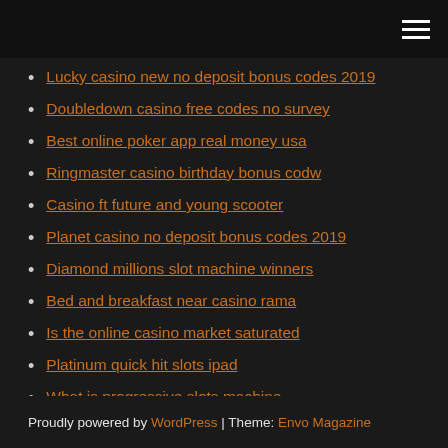[hamburger menu icon]
Lucky casino new no deposit bonus codes 2019
Doubledown casino free codes no survey
Best online poker app real money usa
Ringmaster casino birthday bonus codw
Casino ft future and young scooter
Planet casino no deposit bonus codes 2019
Diamond millions slot machine winners
Bed and breakfast near casino rama
Is the online casino market saturated
Platinum quick hit slots ipad
What is progressive slots machine
Proudly powered by WordPress | Theme: Envo Magazine